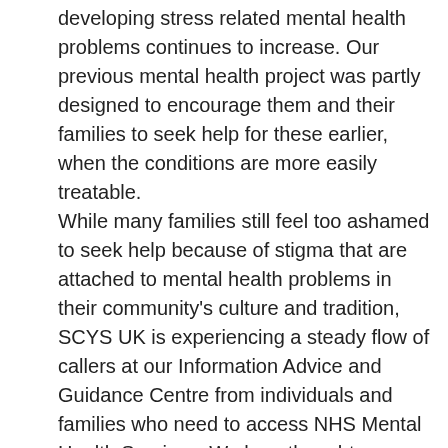developing stress related mental health problems continues to increase. Our previous mental health project was partly designed to encourage them and their families to seek help for these earlier, when the conditions are more easily treatable. While many families still feel too ashamed to seek help because of stigma that are attached to mental health problems in their community's culture and tradition, SCYS UK is experiencing a steady flow of callers at our Information Advice and Guidance Centre from individuals and families who need to access NHS Mental Health Services. We havethought carefully about the best way that these needs can be provided for both by the NHS, Social Services Departments and by community organisations that operate in very disadvantaged areas. We consider that it would be very helpful if there were far more Community Mental Health Workers who have received recognised introductory training in mental health and how to detect and work